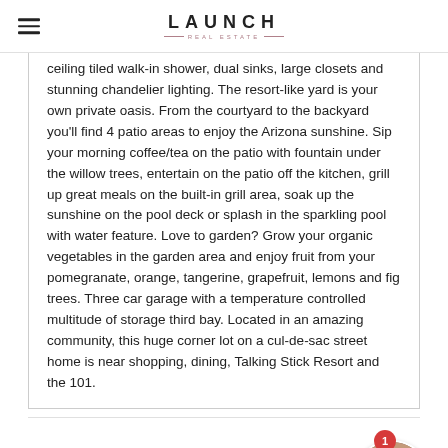LAUNCH REAL ESTATE
ceiling tiled walk-in shower, dual sinks, large closets and stunning chandelier lighting. The resort-like yard is your own private oasis. From the courtyard to the backyard you'll find 4 patio areas to enjoy the Arizona sunshine. Sip your morning coffee/tea on the patio with fountain under the willow trees, entertain on the patio off the kitchen, grill up great meals on the built-in grill area, soak up the sunshine on the pool deck or splash in the sparkling pool with water feature. Love to garden? Grow your organic vegetables in the garden area and enjoy fruit from your pomegranate, orange, tangerine, grapefruit, lemons and fig trees. Three car garage with a temperature controlled multitude of storage third bay. Located in an amazing community, this huge corner lot on a cul-de-sac street home is near shopping, dining, Talking Stick Resort and the 101.
[Figure (photo): Agent profile photo - man in blue jacket]
Listing Office: Berkshire Hathaway HomeServices Arizona Properties